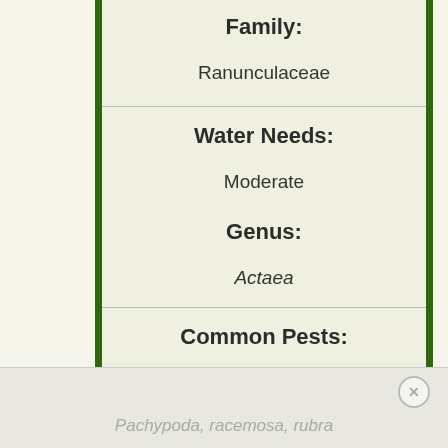Family:
Ranunculaceae
Water Needs:
Moderate
Genus:
Actaea
Common Pests:
Aphids; rust
Species:
Pachypoda, racemosa, rubra